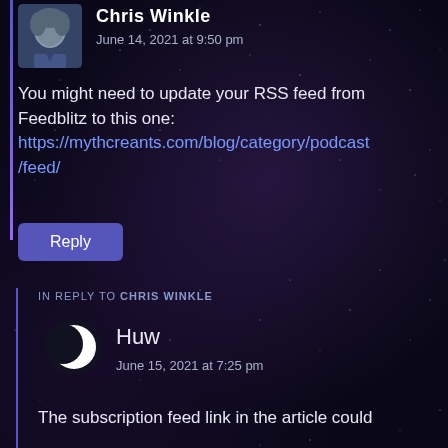Chris Winkle
June 14, 2021 at 9:50 pm
You might need to update your RSS feed from Feedblitz to this one:
https://mythcreants.com/blog/category/podcast/feed/
Reply
IN REPLY TO CHRIS WINKLE
Huw
June 15, 2021 at 7:25 pm
The subscription feed link in the article could